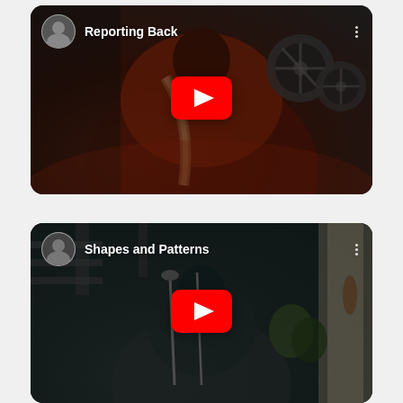[Figure (screenshot): YouTube video card for 'Reporting Back' showing a musician from behind in a recording studio with tape reels, with a YouTube play button overlay and channel avatar]
[Figure (screenshot): YouTube video card for 'Shapes and Patterns' showing a musician from behind in a studio setting, with a YouTube play button overlay and channel avatar]